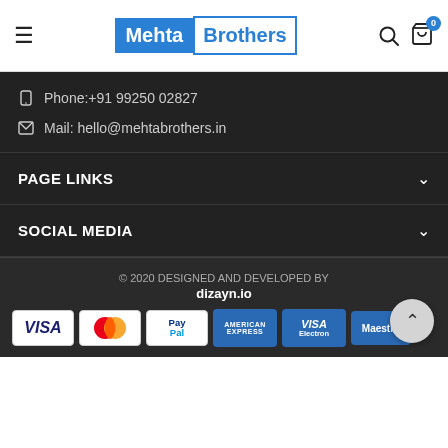Mehta Brothers — navigation header with hamburger menu, logo, search icon, and cart with badge 0
Phone:+91 99250 02827
Mail: hello@mehtabrothers.in
PAGE LINKS
SOCIAL MEDIA
© 2020 DESIGNED AND DEVELOPED BY dizayn.io
[Figure (other): Payment method icons: VISA, MasterCard, PayPal, American Express, VISA Electron, Maestro]